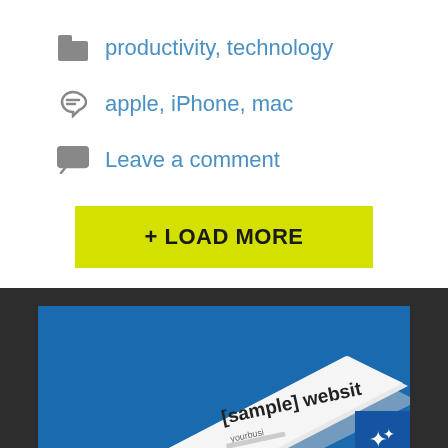productivity, technology
apple, iPhone, mac
Leave a comment
+ LOAD MORE
[Figure (screenshot): Bottom section with dark background showing a blue promotional card with a book/brochure mockup labeled '[sample] website' and a star badge in the bottom right corner.]